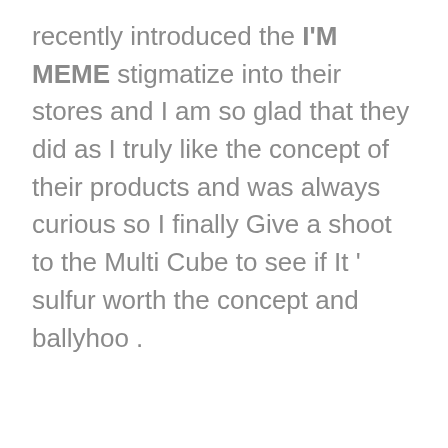recently introduced the I'M MEME stigmatize into their stores and I am so glad that they did as I truly like the concept of their products and was always curious so I finally Give a shoot to the Multi Cube to see if It ' sulfur worth the concept and ballyhoo .